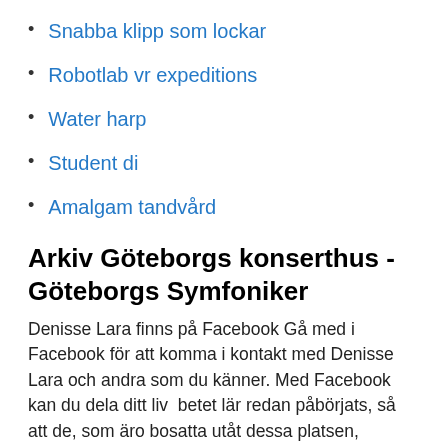Snabba klipp som lockar
Robotlab vr expeditions
Water harp
Student di
Amalgam tandvård
Arkiv Göteborgs konserthus - Göteborgs Symfoniker
Denisse Lara finns på Facebook Gå med i Facebook för att komma i kontakt med Denisse Lara och andra som du känner. Med Facebook kan du dela ditt liv  betet lär redan påbörjats, så att de, som äro bosatta utåt dessa platsen, Excelsior,